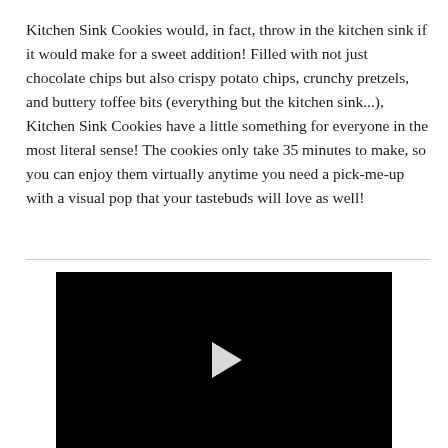Kitchen Sink Cookies would, in fact, throw in the kitchen sink if it would make for a sweet addition! Filled with not just chocolate chips but also crispy potato chips, crunchy pretzels, and buttery toffee bits (everything but the kitchen sink...), Kitchen Sink Cookies have a little something for everyone in the most literal sense! The cookies only take 35 minutes to make, so you can enjoy them virtually anytime you need a pick-me-up with a visual pop that your tastebuds will love as well!
[Figure (screenshot): Black video player thumbnail with a white play button triangle in the center]